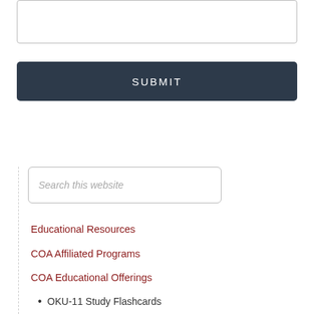[Figure (other): Text area input box (top, partially visible)]
SUBMIT
[Figure (other): Search input box with placeholder text 'Search this website']
Educational Resources
COA Affiliated Programs
COA Educational Offerings
OKU-11 Study Flashcards